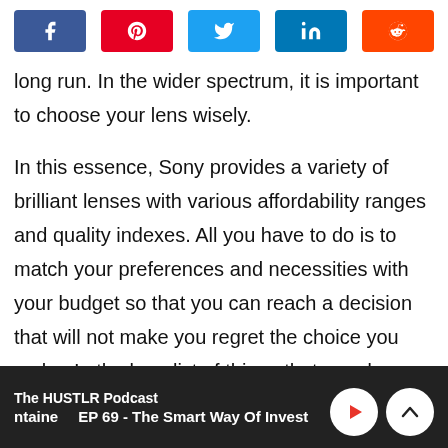[Figure (other): Social share buttons row: Facebook (blue), Pinterest (red), Twitter (light blue), LinkedIn (dark blue), Reddit (orange-red)]
long run. In the wider spectrum, it is important to choose your lens wisely.
In this essence, Sony provides a variety of brilliant lenses with various affordability ranges and quality indexes. All you have to do is to match your preferences and necessities with your budget so that you can reach a decision that will not make you regret the choice you make. In the long list of things that you do, finding the right lens and knowing how to
The HUSTLR Podcast | ntaine | EP 69 - The Smart Way Of Invest